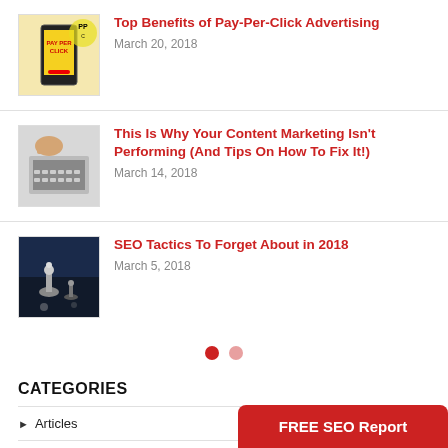[Figure (photo): Thumbnail of a mobile phone showing Pay-Per-Click advertising content]
Top Benefits of Pay-Per-Click Advertising
March 20, 2018
[Figure (photo): Thumbnail of a laptop keyboard with someone typing]
This Is Why Your Content Marketing Isn't Performing (And Tips On How To Fix It!)
March 14, 2018
[Figure (photo): Thumbnail of chess pieces on a board, blue-tinted]
SEO Tactics To Forget About in 2018
March 5, 2018
CATEGORIES
Articles
blog